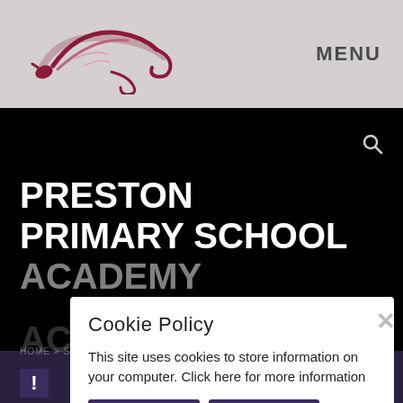[Figure (logo): Preston Primary School Academy logo — stylized bird/feather design in dark red/pink on grey header]
MENU
PRESTON PRIMARY SCHOOL ACADEMY
Cookie Policy
This site uses cookies to store information on your computer. Click here for more information
Allow Cookies   Deny Cookies